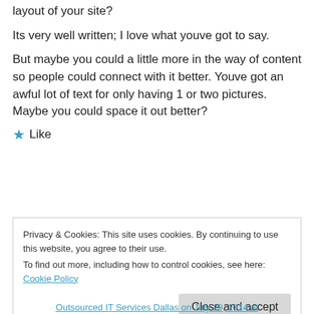layout of your site? Its very well written; I love what youve got to say.

But maybe you could a little more in the way of content so people could connect with it better. Youve got an awful lot of text for only having 1 or two pictures. Maybe you could space it out better?
★ Like
Privacy & Cookies: This site uses cookies. By continuing to use this website, you agree to their use.
To find out more, including how to control cookies, see here: Cookie Policy
Close and accept
Outsourced IT Services Dallas on July 29, 2014 at